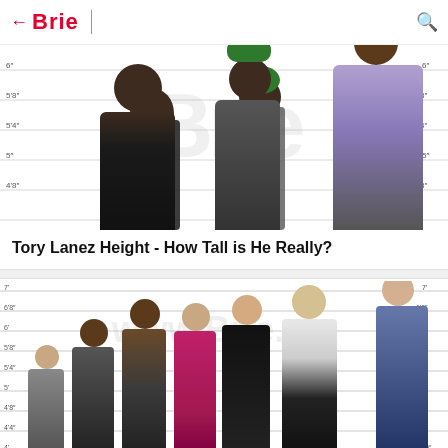← Brie
[Figure (infographic): Height comparison chart showing Tory Lanez with other celebrities including Snoop Dogg, with ruler markings from 4'8" to 6". Watermark reads 'Brie' in large gray letters.]
Tory Lanez Height - How Tall is He Really?
[Figure (infographic): Height comparison chart showing Kendrick Lamar and other celebrities including Kevin Hart, Diddy, Zendaya, Brad Pitt, a volleyball player, and a tall male, with ruler markings. Watermark reads 'www.Brie.me'.]
Kendrick Lamar Height